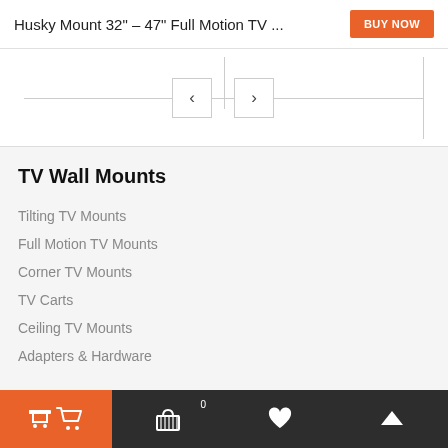Husky Mount 32" - 47" Full Motion TV ...
[Figure (screenshot): Image slider carousel navigation area with left and right arrow buttons and a vertical line indicator]
TV Wall Mounts
Tilting TV Mounts
Full Motion TV Mounts
Corner TV Mounts
TV Carts
Ceiling TV Mounts
Adapters & Hardware
Cart | Basket 0 | Heart | Up